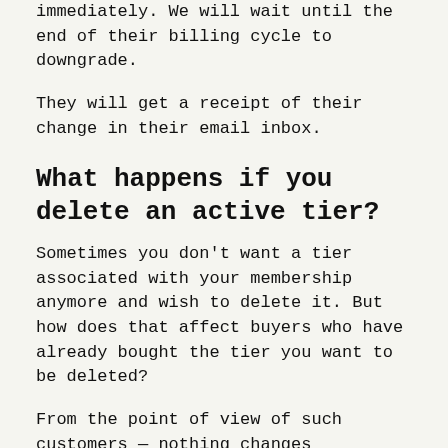immediately. We will wait until the end of their billing cycle to downgrade.
They will get a receipt of their change in their email inbox.
What happens if you delete an active tier?
Sometimes you don't want a tier associated with your membership anymore and wish to delete it. But how does that affect buyers who have already bought the tier you want to be deleted?
From the point of view of such customers — nothing changes virtually. They'll continue to have access to files associated with their tier at the time of deletion unless you also delete those individual files! If the files are deleted,